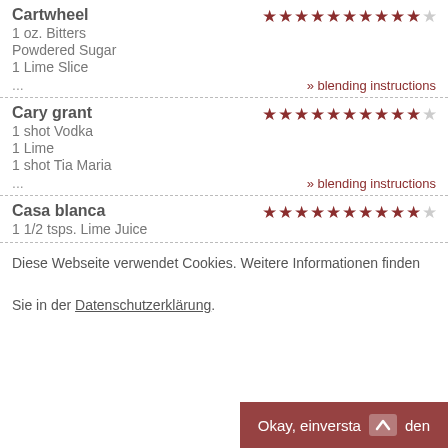Cartwheel
1 oz. Bitters
Powdered Sugar
1 Lime Slice
... » blending instructions
Cary grant
1 shot Vodka
1 Lime
1 shot Tia Maria
... » blending instructions
Casa blanca
1 1/2 tsps. Lime Juice
Diese Webseite verwendet Cookies. Weitere Informationen finden Sie in der Datenschutzerklärung.
Okay, einverstanden